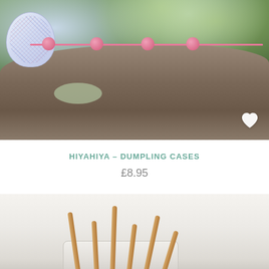[Figure (photo): Photo of a HiyaHiya dumpling needle case (decorative blue and white patterned pouch) resting on a mossy rock with pink knotted cord balls, set against a blurred green background.]
HIYAHIYA – DUMPLING CASES
£8.95
[Figure (photo): Partial photo showing knitting needles (bamboo/wood colored) arranged in a white ceramic or porcelain holder/cup on a light background.]